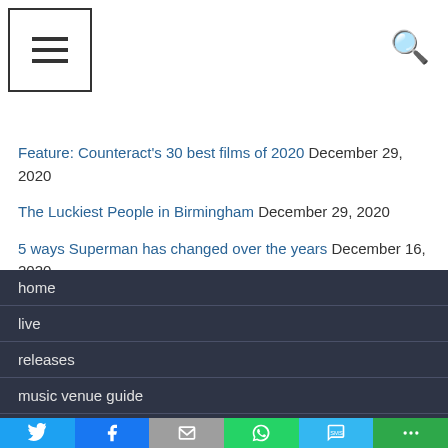Navigation menu and search icon
Feature: Counteract's 30 best films of 2020 December 29, 2020
The Luckiest People in Birmingham December 29, 2020
5 ways Superman has changed over the years December 16, 2020
home
live
releases
music venue guide
Social share bar: Twitter, Facebook, Email, WhatsApp, SMS, More